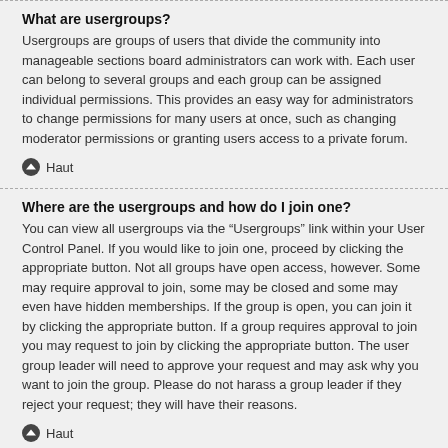What are usergroups?
Usergroups are groups of users that divide the community into manageable sections board administrators can work with. Each user can belong to several groups and each group can be assigned individual permissions. This provides an easy way for administrators to change permissions for many users at once, such as changing moderator permissions or granting users access to a private forum.
Haut
Where are the usergroups and how do I join one?
You can view all usergroups via the “Usergroups” link within your User Control Panel. If you would like to join one, proceed by clicking the appropriate button. Not all groups have open access, however. Some may require approval to join, some may be closed and some may even have hidden memberships. If the group is open, you can join it by clicking the appropriate button. If a group requires approval to join you may request to join by clicking the appropriate button. The user group leader will need to approve your request and may ask why you want to join the group. Please do not harass a group leader if they reject your request; they will have their reasons.
Haut
How do I become a usergroup leader?